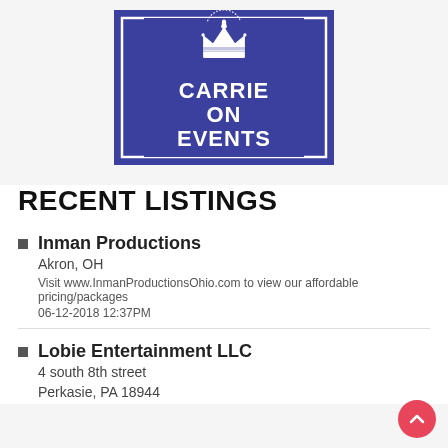[Figure (logo): Carrie On Events logo — blue square with white bordered inner rectangle, white crown icon at top, text 'CARRIE ON EVENTS' in white serif letters]
RECENT LISTINGS
Inman Productions
Akron, OH
Visit www.InmanProductionsOhio.com to view our affordable pricing/packages
06-12-2018 12:37PM
Lobie Entertainment LLC
4 south 8th street
Perkasie, PA 18944